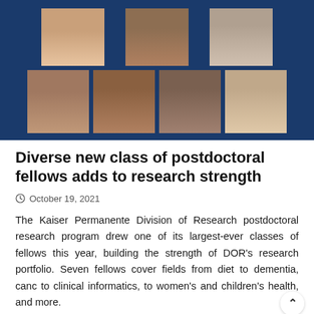[Figure (photo): Collage of seven postdoctoral fellows' headshot photos arranged in two rows on a dark navy blue background. Top row has three photos, bottom row has four photos.]
Diverse new class of postdoctoral fellows adds to research strength
October 19, 2021
The Kaiser Permanente Division of Research postdoctoral research program drew one of its largest-ever classes of fellows this year, building the strength of DOR's research portfolio. Seven fellows cover fields from diet to dementia, cancer to clinical informatics, to women's and children's health, and more.